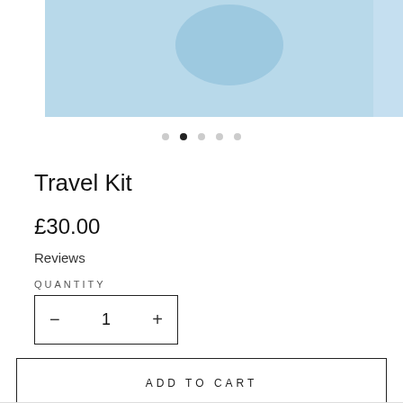[Figure (photo): Product image strip showing a skincare product on a light blue background, with a partial view of another product on the right edge. Image carousel with 5 navigation dots below, second dot active.]
Travel Kit
£30.00
Reviews
QUANTITY
− 1 +
ADD TO CART